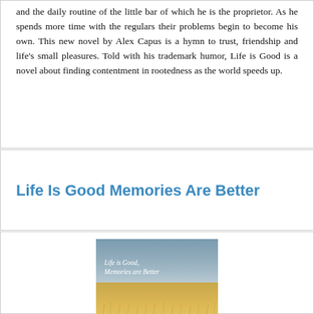and the daily routine of the little bar of which he is the proprietor. As he spends more time with the regulars their problems begin to become his own. This new novel by Alex Capus is a hymn to trust, friendship and life's small pleasures. Told with his trademark humor, Life is Good is a novel about finding contentment in rootedness as the world speeds up.
Life Is Good Memories Are Better
[Figure (photo): Book cover image showing 'Life is Good, Memories are Better' text overlaid on a landscape with a grey/blue sky at the top and golden wheat field at the bottom]